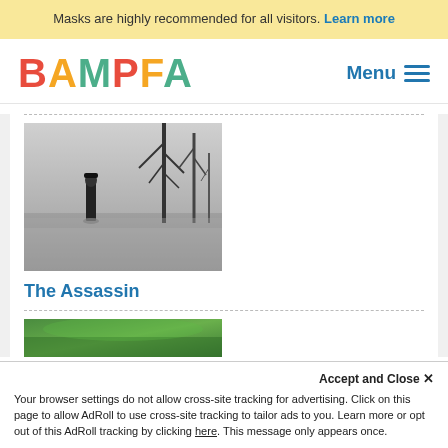Masks are highly recommended for all visitors. Learn more
[Figure (logo): BAMPFA logo in multicolor letters]
Menu
[Figure (photo): Black and white film still showing a figure in dark clothing standing in a winter field with bare trees]
The Assassin
[Figure (photo): Partially visible color film still at bottom of page with green tones]
Accept and Close ✕
Your browser settings do not allow cross-site tracking for advertising. Click on this page to allow AdRoll to use cross-site tracking to tailor ads to you. Learn more or opt out of this AdRoll tracking by clicking here. This message only appears once.